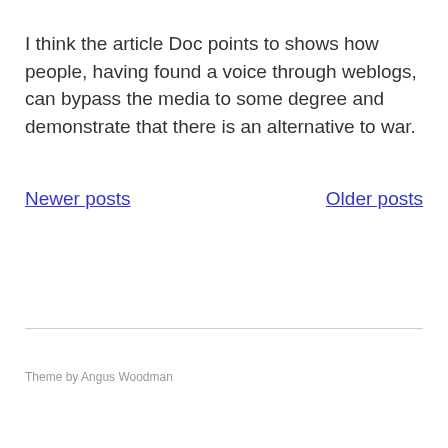I think the article Doc points to shows how people, having found a voice through weblogs, can bypass the media to some degree and demonstrate that there is an alternative to war.
Newer posts
Older posts
Theme by Angus Woodman